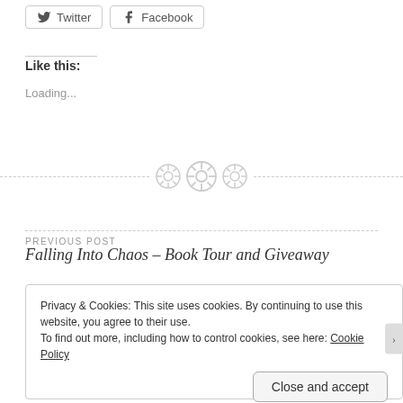[Figure (other): Social share buttons: Twitter and Facebook]
Like this:
Loading...
[Figure (illustration): Decorative divider with three button/gear icons on a dashed line]
PREVIOUS POST
Falling Into Chaos – Book Tour and Giveaway
Privacy & Cookies: This site uses cookies. By continuing to use this website, you agree to their use.
To find out more, including how to control cookies, see here: Cookie Policy
Close and accept